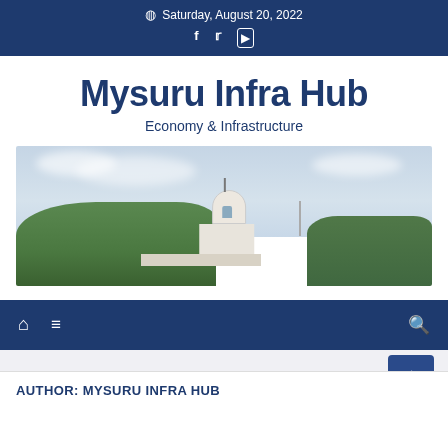Saturday, August 20, 2022
Mysuru Infra Hub
Economy & Infrastructure
[Figure (photo): Panoramic photo of Mysuru cityscape showing a white domed building (likely St. Philomena's Cathedral or similar landmark) rising above tree cover against a cloudy sky.]
AUTHOR: MYSURU INFRA HUB